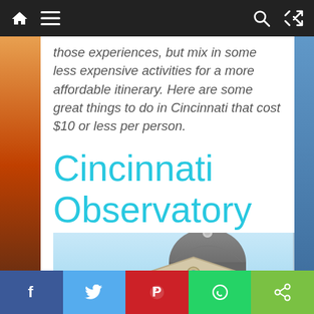[Navigation bar with home, menu, search, and shuffle icons]
those experiences, but mix in some less expensive activities for a more affordable itinerary. Here are some great things to do in Cincinnati that cost $10 or less per person.
Cincinnati Observatory
[Figure (photo): Photograph of the Cincinnati Observatory building showing its classical architecture with columns, pediment, and large domed roof against a blue sky.]
[Social share bar: Facebook, Twitter, Pinterest, WhatsApp, Share]